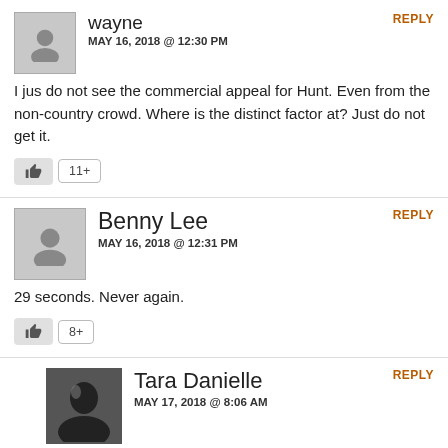wayne
MAY 16, 2018 @ 12:30 PM
REPLY
I jus do not see the commercial appeal for Hunt. Even from the non-country crowd. Where is the distinct factor at? Just do not get it.
11+
Benny Lee
MAY 16, 2018 @ 12:31 PM
REPLY
29 seconds. Never again.
8+
Tara Danielle
MAY 17, 2018 @ 8:06 AM
REPLY
I made it to 36 seconds. He. Is. Disgraceful.
3+